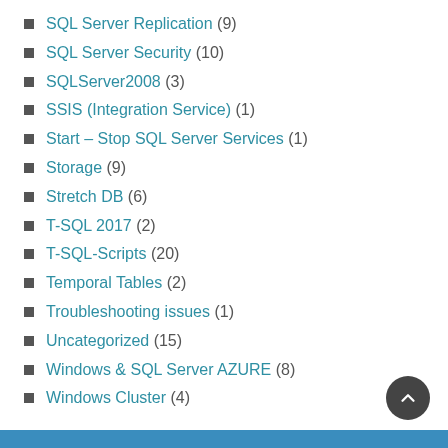SQL Server Replication (9)
SQL Server Security (10)
SQLServer2008 (3)
SSIS (Integration Service) (1)
Start – Stop SQL Server Services (1)
Storage (9)
Stretch DB (6)
T-SQL 2017 (2)
T-SQL-Scripts (20)
Temporal Tables (2)
Troubleshooting issues (1)
Uncategorized (15)
Windows & SQL Server AZURE (8)
Windows Cluster (4)